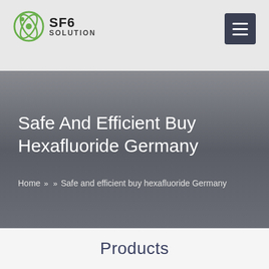SF6 SOLUTION
Safe And Efficient Buy Hexafluoride Germany
Home » » Safe and efficient buy hexafluoride Germany
Products